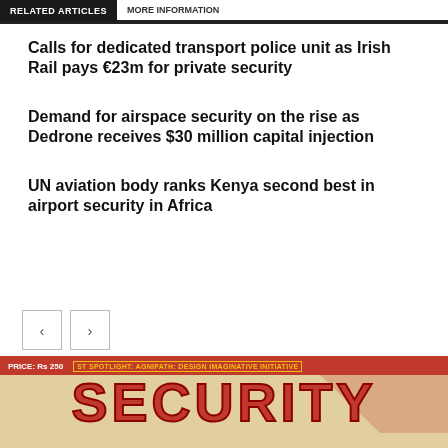RELATED ARTICLES | MORE INFORMATION
Calls for dedicated transport police unit as Irish Rail pays €23m for private security
Demand for airspace security on the rise as Dedrone receives $30 million capital injection
UN aviation body ranks Kenya second best in airport security in Africa
[Figure (screenshot): Bottom banner showing a magazine cover or ad with red background, price Rs 250, ST SPOTLIGHT: AGNIPATH: DESIGN IMAGINATIVE INITIATIVE label in yellow, and large stylized SECURITY text in red on beige background]